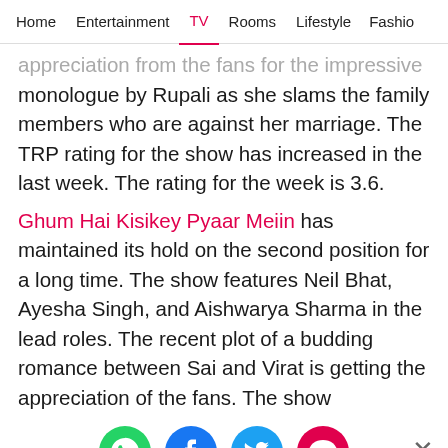Home  Entertainment  TV  Rooms  Lifestyle  Fashio
appreciation from the fans for the impressive monologue by Rupali as she slams the family members who are against her marriage. The TRP rating for the show has increased in the last week. The rating for the week is 3.6.
Ghum Hai Kisikey Pyaar Meiin has maintained its hold on the second position for a long time. The show features Neil Bhat, Ayesha Singh, and Aishwarya Sharma in the lead roles. The recent plot of a budding romance between Sai and Virat is getting the appreciation of the fans. The show
[Figure (infographic): Social share icons row: WhatsApp (green), Facebook (blue), Twitter (blue), Chat/more (pink/red), and a close X button]
[Figure (infographic): Advertisement banner: 'FIND A GIRLFRIEND' by Clover app with purple/pink gradient background and photo of woman]